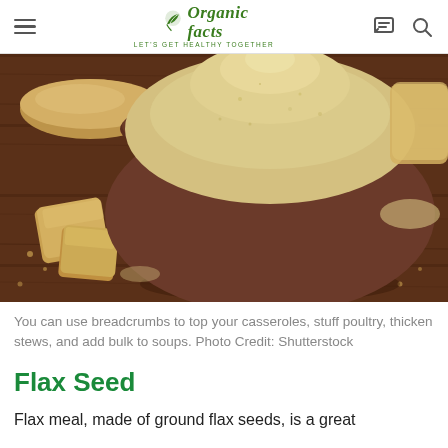Organic Facts — LET'S GET HEALTHY TOGETHER
[Figure (photo): A brown ceramic bowl filled with ground flax seed meal, placed on a dark wooden surface with bread pieces and crumbs scattered around it.]
You can use breadcrumbs to top your casseroles, stuff poultry, thicken stews, and add bulk to soups. Photo Credit: Shutterstock
Flax Seed
Flax meal, made of ground flax seeds, is a great